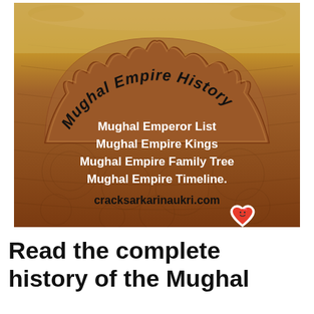[Figure (illustration): Mughal Empire History decorative image with arched scallop border on a terracotta/wood-grain background. Curved text 'Mughal Empire History' arches across the top in bold black italic letters. White bold text lists: 'Mughal Emperor List', 'Mughal Empire Kings', 'Mughal Empire Family Tree', 'Mughal Empire Timeline.' Below that in black bold: 'cracksarkarinaukri.com'. A red heart smiley emoji is in the bottom right corner.]
Read the complete history of the Mughal